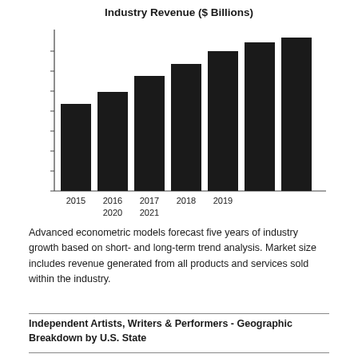[Figure (bar-chart): Industry Revenue ($ Billions)]
Advanced econometric models forecast five years of industry growth based on short- and long-term trend analysis. Market size includes revenue generated from all products and services sold within the industry.
Independent Artists, Writers & Performers - Geographic Breakdown by U.S. State